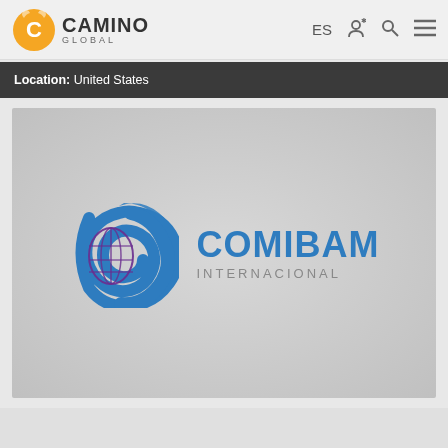CAMINO GLOBAL — ES [account icon] [search icon] [menu icon]
Location: United States
[Figure (logo): COMIBAM Internacional logo: circular icon with blue swoosh and purple globe grid, beside blue text 'COMIBAM' and gray text 'INTERNACIONAL']